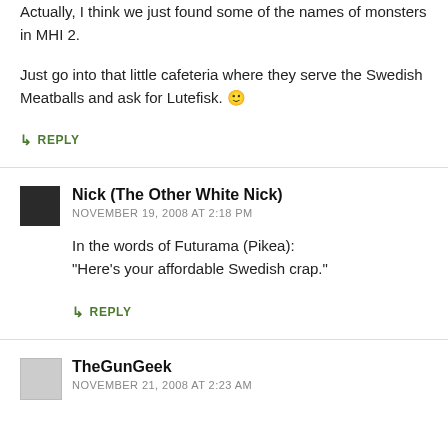Actually, I think we just found some of the names of monsters in MHI 2.

Just go into that little cafeteria where they serve the Swedish Meatballs and ask for Lutefisk. 🙂
↳ REPLY
Nick (The Other White Nick)
NOVEMBER 19, 2008 AT 2:18 PM
In the words of Futurama (Pikea):
"Here's your affordable Swedish crap."
↳ REPLY
TheGunGeek
NOVEMBER 21, 2008 AT 2:23 AM